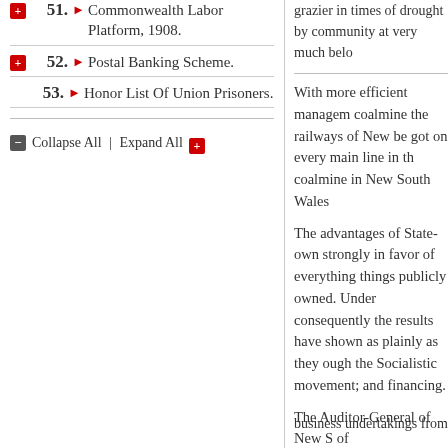51. Commonwealth Labor Platform, 1908.
52. Postal Banking Scheme.
53. Honor List Of Union Prisoners.
Collapse All | Expand All
grazier in times of drought by community at very much belo
With more efficient management coalmine the railways of New be got on every main line in th coalmine in New South Wales
The advantages of State-own strongly in favor of everything things publicly owned. Under consequently the results have shown as plainly as they oug the Socialistic movement; and financing.
The Auditor-General of New S of
business undertakings from